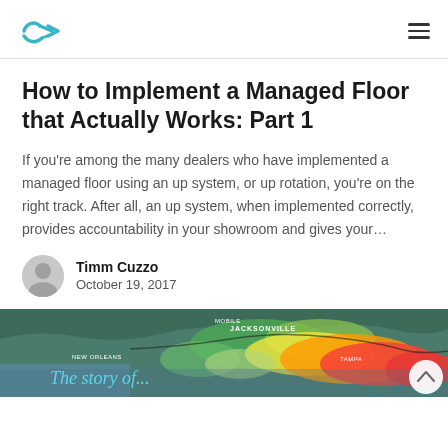Navigation header with logo and menu
How to Implement a Managed Floor that Actually Works: Part 1
If you're among the many dealers who have implemented a managed floor using an up system, or up rotation, you're on the right track. After all, an up system, when implemented correctly, provides accountability in your showroom and gives your…
Timm Cuzzo
October 19, 2017
[Figure (photo): Weather radar map showing southeastern US coastline with cities labeled (Mobile, Jacksonville, New Orleans, Tampa). Colorful radar returns in orange/red/green indicating storm activity. Overlaid italic text 'The story of...' in teal/cyan color.]